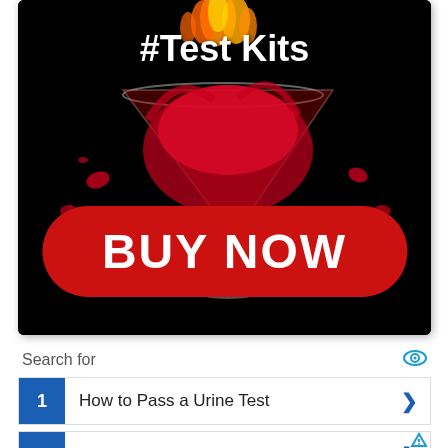[Figure (photo): Advertisement image showing a martini glass with red liquid splashing and flames on top against a black background, with '#Test Kits' text overlay and a red 'BUY NOW' button]
Search for
1  How to Pass a Urine Test
2  Drug Detection Times